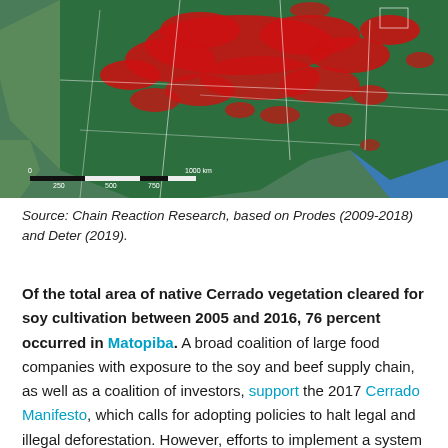[Figure (map): Satellite map of Brazil showing deforestation areas in red overlay on dark green vegetation, with white boundary lines indicating regions. A scale bar at the bottom left shows 0, 250, 500, 750, 1000 km. The right side shows the Atlantic Ocean in blue.]
Source: Chain Reaction Research, based on Prodes (2009-2018) and Deter (2019).
Of the total area of native Cerrado vegetation cleared for soy cultivation between 2005 and 2016, 76 percent occurred in Matopiba. A broad coalition of large food companies with exposure to the soy and beef supply chain, as well as a coalition of investors, support the 2017 Cerrado Manifesto, which calls for adopting policies to halt legal and illegal deforestation. However, efforts to implement a system to compensate farmers for preserving areas that they could otherwise cultivate stalled for